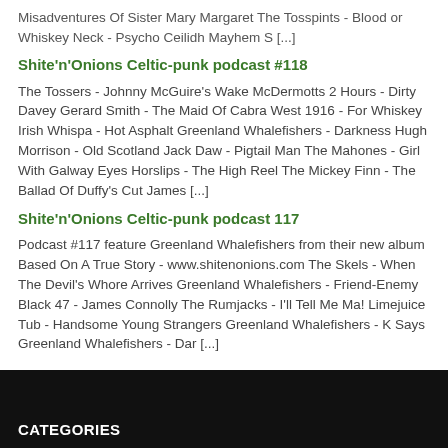Misadventures Of Sister Mary Margaret The Tosspints - Blood or Whiskey Neck - Psycho Ceilidh Mayhem S [...]
Shite'n'Onions Celtic-punk podcast #118
The Tossers - Johnny McGuire's Wake McDermotts 2 Hours - Dirty Davey Gerard Smith - The Maid Of Cabra West 1916 - For Whiskey Irish Whispa - Hot Asphalt Greenland Whalefishers - Darkness Hugh Morrison - Old Scotland Jack Daw - Pigtail Man The Mahones - Girl With Galway Eyes Horslips - The High Reel The Mickey Finn - The Ballad Of Duffy's Cut James [...]
Shite'n'Onions Celtic-punk podcast 117
Podcast #117 feature Greenland Whalefishers from their new album Based On A True Story - www.shitenonions.com The Skels - When The Devil's Whore Arrives Greenland Whalefishers - Friend-Enemy Black 47 - James Connolly The Rumjacks - I'll Tell Me Ma! Limejuice Tub - Handsome Young Strangers Greenland Whalefishers - K Says Greenland Whalefishers - Dar [...]
CATEGORIES